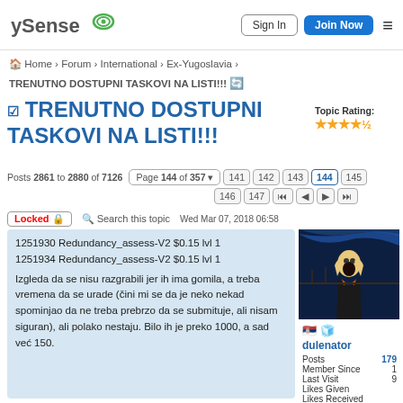ySense | Sign In | Join Now
Home › Forum › International › Ex-Yugoslavia › TRENUTNO DOSTUPNI TASKOVI NA LISTI!!!
TRENUTNO DOSTUPNI TASKOVI NA LISTI!!!
Topic Rating: ★★★★½
Posts 2861 to 2880 of 7126   Page 144 of 357   141 142 143 144 145 146 147
Locked 🔒   Search this topic   dulenator • Wed Mar 07, 2018 06:58
1251930 Redundancy_assess-V2 $0.15 lvl 1
1251934 Redundancy_assess-V2 $0.15 lvl 1

Izgleda da se nisu razgrabili jer ih ima gomila, a treba vremena da se urade (čini mi se da je neko nekad spominjao da ne treba prebrzo da se submituje, ali nisam siguran), ali polako nestaju. Bilo ih je preko 1000, a sad već 150.
[Figure (illustration): User avatar image showing The Scream painting style artwork with dark blue/black background]
dulenator
Posts 179
Member Since
Last Visit
Likes Given
Likes Received